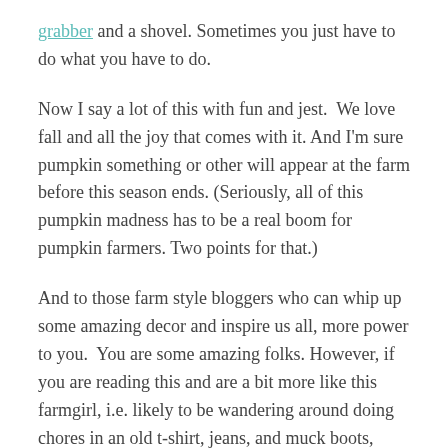grabber and a shovel. Sometimes you just have to do what you have to do.
Now I say a lot of this with fun and jest.  We love fall and all the joy that comes with it. And I'm sure pumpkin something or other will appear at the farm before this season ends. (Seriously, all of this pumpkin madness has to be a real boom for pumpkin farmers. Two points for that.)
And to those farm style bloggers who can whip up some amazing decor and inspire us all, more power to you.  You are some amazing folks. However, if you are reading this and are a bit more like this farmgirl, i.e. likely to be wandering around doing chores in an old t-shirt, jeans, and muck boots, your house slightly disheveled, the only white decor that stands a chance is your washable wood trim, and critters rule the roost, it's perfectly okay